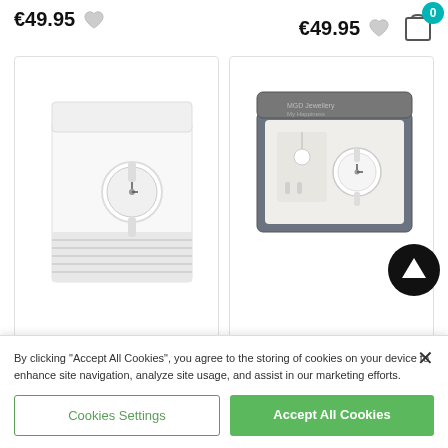€49.95
€49.95
[Figure (photo): MGD Jewellery Girls CZ watch gift set in a white striped box]
[Figure (photo): MGD Jewellery My H... watch and jewellery gift set in a grey box]
MGD Jewellery Girls CZ
MGD Jewellery My H...
By clicking "Accept All Cookies", you agree to the storing of cookies on your device to enhance site navigation, analyze site usage, and assist in our marketing efforts.
Cookies Settings
Accept All Cookies